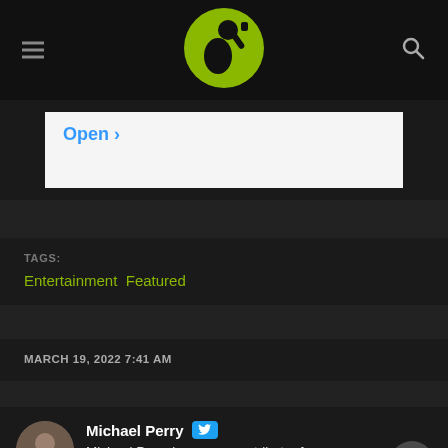[Logo: Mandatory.com — figure of person drinking with arm raised, yellow-green circle]
[Figure (logo): Mandatory.com logo: yellow-green circle with black silhouette of person raising drink to mouth]
Open >
TAGS:
Entertainment Featured
MARCH 19, 2022 7:41 AM
Michael Perry
Michael Perry is a news contributor for